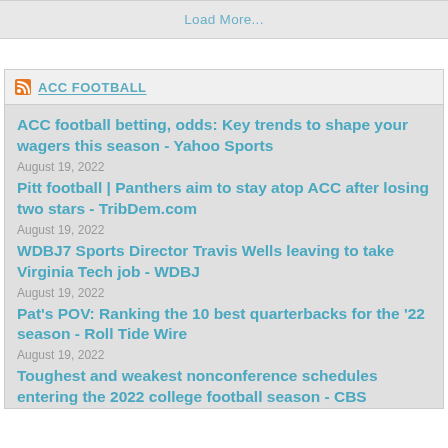Load More...
ACC FOOTBALL
ACC football betting, odds: Key trends to shape your wagers this season - Yahoo Sports
August 19, 2022
Pitt football | Panthers aim to stay atop ACC after losing two stars - TribDem.com
August 19, 2022
WDBJ7 Sports Director Travis Wells leaving to take Virginia Tech job - WDBJ
August 19, 2022
Pat's POV: Ranking the 10 best quarterbacks for the '22 season - Roll Tide Wire
August 19, 2022
Toughest and weakest nonconference schedules entering the 2022 college football season - CBS